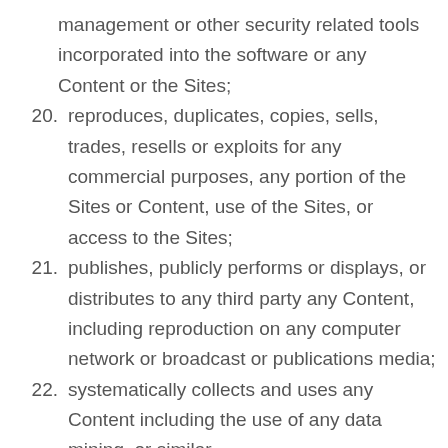management or other security related tools incorporated into the software or any Content or the Sites;
20. reproduces, duplicates, copies, sells, trades, resells or exploits for any commercial purposes, any portion of the Sites or Content, use of the Sites, or access to the Sites;
21. publishes, publicly performs or displays, or distributes to any third party any Content, including reproduction on any computer network or broadcast or publications media;
22. systematically collects and uses any Content including the use of any data mining, or similar